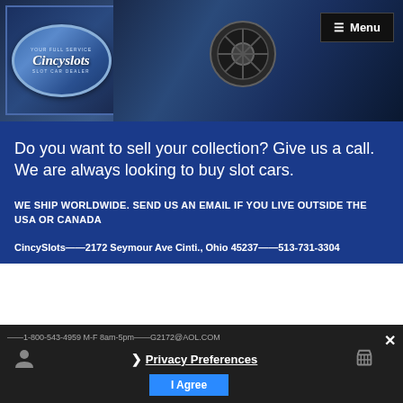[Figure (logo): Cincyslots logo — blue oval with 'YOUR FULL SERVICE' text at top, 'Cincyslots' in italic script in center, 'SLOT CAR DEALER' at bottom. Displayed over a dark blue hero background with a vehicle/slot car detail visible.]
☰ Menu
Do you want to sell your collection? Give us a call. We are always looking to buy slot cars.
WE SHIP WORLDWIDE. SEND US AN EMAIL IF YOU LIVE OUTSIDE THE USA OR CANADA
CincySlots——2172 Seymour Ave Cinti., Ohio 45237——513-731-3304
——1-800-543-4959 M-F 8am-5pm——G2172@AOL.COM
❯ Privacy Preferences
I Agree